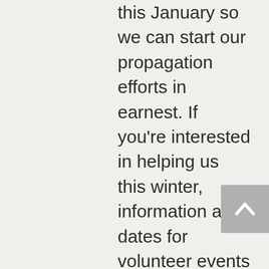this January so we can start our propagation efforts in earnest. If you're interested in helping us this winter, information and dates for volunteer events will be posted to our Volunteer page soon!
If you like what you see here, please consider including the Earth Sangha in your end-of-the-year giving. From greenhouse propagation to field surveys to invasives removals to our Tree Bank Forest Credit loans, all of our work has costs. Helping us to shoulder those costs is another reason why I'm so grateful to our donors — and why I'm hoping that, if you haven't already made a year-end gift to the Sangha, that you'll make that donation today, and take